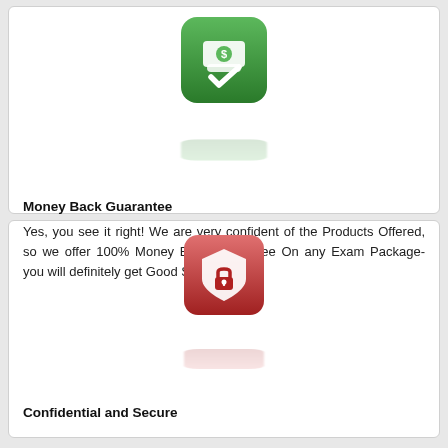[Figure (illustration): Green rounded square icon with a hand holding money/cash and a checkmark, representing money back guarantee]
Money Back Guarantee
Yes, you see it right! We are very confident of the Products Offered, so we offer 100% Money Back Guarantee On any Exam Package- you will definitely get Good Scores.
[Figure (illustration): Red rounded square icon with a shield and padlock symbol, representing confidential and secure]
Confidential and Secure